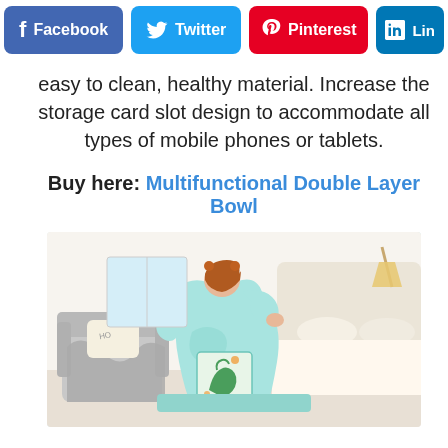[Figure (infographic): Social media sharing bar with Facebook (blue), Twitter (light blue), Pinterest (red), and LinkedIn (partially visible, blue) buttons]
easy to clean, healthy material. Increase the storage card slot design to accommodate all types of mobile phones or tablets.
Buy here: Multifunctional Double Layer Bowl
[Figure (photo): A woman sitting on a couch/bed wearing a light blue wearable blanket with sleeves, featuring a decorative dragon/dinosaur embroidery patch. The room has a cream/white bed and a grey armchair with a pillow.]